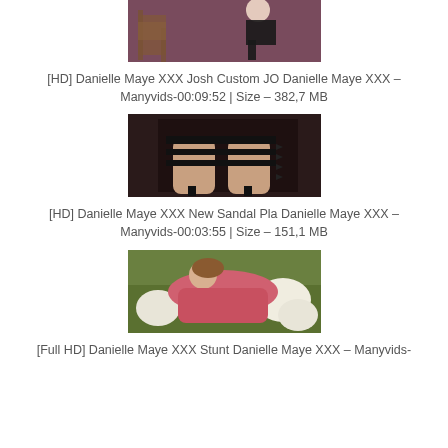[Figure (photo): Partial thumbnail of a woman in a room with a wooden chair, mauve/purple walls, bending down]
[HD] Danielle Maye XXX Josh Custom JO Danielle Maye XXX – Manyvids-00:09:52 | Size – 382,7 MB
[Figure (photo): Thumbnail showing feet wearing black spiked high heel sandals against a dark background]
[HD] Danielle Maye XXX New Sandal Pla Danielle Maye XXX – Manyvids-00:03:55 | Size – 151,1 MB
[Figure (photo): Thumbnail of a woman in pink outfit lying on a green couch with white pillows]
[Full HD] Danielle Maye XXX Stunt Danielle Maye XXX – Manyvids-